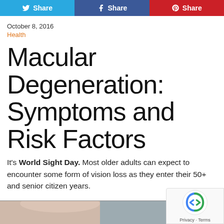[Figure (other): Social share buttons: Twitter Share, Facebook Share, Pinterest Share]
October 8, 2016
Health
Macular Degeneration: Symptoms and Risk Factors
It's World Sight Day. Most older adults can expect to encounter some form of vision loss as they enter their 50+ and senior citizen years.
[Figure (photo): Partial photo of a person's face, cropped at bottom of page]